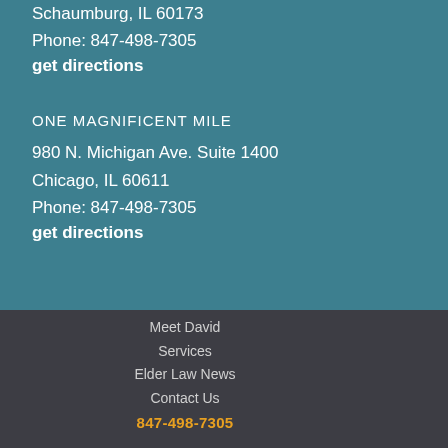Schaumburg, IL 60173
Phone: 847-498-7305
get directions
ONE MAGNIFICENT MILE
980 N. Michigan Ave. Suite 1400
Chicago, IL 60611
Phone: 847-498-7305
get directions
Meet David
Services
Elder Law News
Contact Us
847-498-7305